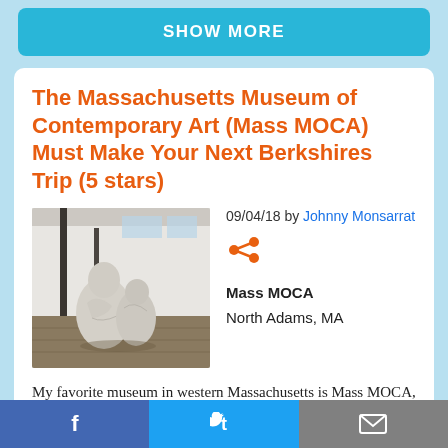SHOW MORE
The Massachusetts Museum of Contemporary Art (Mass MOCA) Must Make Your Next Berkshires Trip (5 stars)
09/04/18 by Johnny Monsarrat
[Figure (photo): Interior of Mass MOCA showing two rounded stone/plaster sculptures of seated figures viewed from behind, in a large gallery space with high ceilings and industrial windows.]
Mass MOCA
North Adams, MA
My favorite museum in western Massachusetts is Mass MOCA, The Massachusetts Museum of Contemporary Art,
f   t   mail